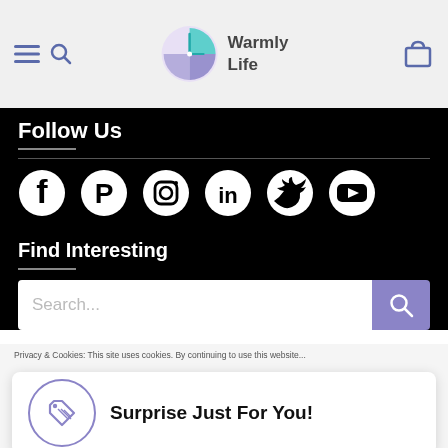[Figure (screenshot): Warmly Life website header with hamburger menu, search icon, Warmly Life logo (clock with teal/purple pie chart), and shopping cart icon on grey background]
Follow Us
[Figure (infographic): Row of social media icons: Facebook, Pinterest, Instagram, LinkedIn, Twitter, YouTube — white icons on black background]
Find Interesting
[Figure (screenshot): Search bar with placeholder text 'Search...' and purple search button with magnifying glass icon]
Privacy & Cookies: This site uses cookies. By continuing to use this website...
[Figure (infographic): Surprise popup card with circular tag icon and text 'Surprise Just For You!']
Close and Accept